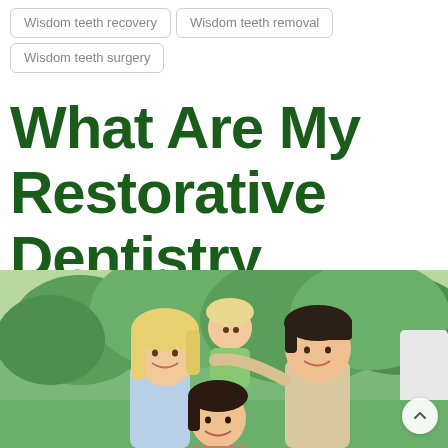Wisdom teeth recovery
Wisdom teeth removal
Wisdom teeth surgery
What Are My Restorative Dentistry Options?
[Figure (photo): Happy family of four smiling outdoors — mother with blonde hair, young child on father's back, and daughter in front, green trees in background]